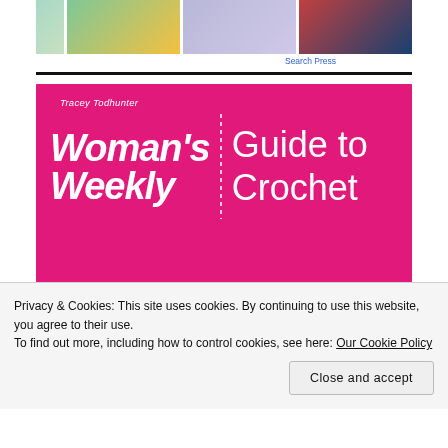[Figure (photo): Strip of four crochet/knitting texture book cover images at the top of the page]
Search Press
[Figure (photo): Book cover: Woman's Weekly Guide to Crochet by Tracey Todhunter. Pink background with white bold title text and subtitle: Techniques and projects to build a lifelong passion, for beginners up]
Privacy & Cookies: This site uses cookies. By continuing to use this website, you agree to their use.
To find out more, including how to control cookies, see here: Our Cookie Policy
Close and accept